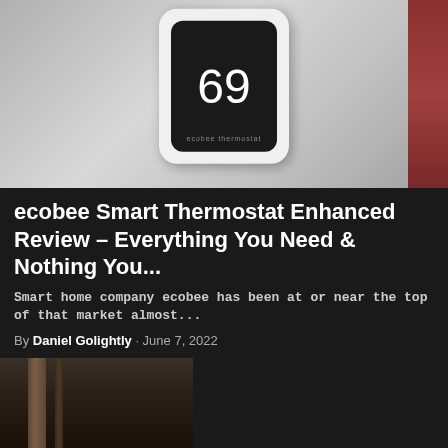[Figure (photo): Ecobee smart thermostat device mounted on a wall, showing number 69 on its black screen, with a red wall section visible on the right]
ecobee Smart Thermostat Enhanced Review – Everything You Need & Nothing You...
Smart home company ecobee has been at or near the top of that market almost...
By Daniel Golightly · June 7, 2022
[Figure (photo): Dark interior photo showing a wooden door frame]
[Figure (screenshot): Video overlay popup showing 'Up Next - Samsung Galaxy Buds 2 Pro r...' with an ad playing showing Galaxy Buds 2 Pro branding and a male presenter, with mute button and ad counter 'ad 1 of 1 (0:30)']